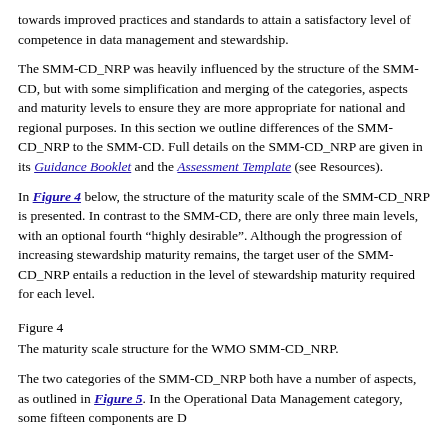towards improved practices and standards to attain a satisfactory level of competence in data management and stewardship.
The SMM-CD_NRP was heavily influenced by the structure of the SMM-CD, but with some simplification and merging of the categories, aspects and maturity levels to ensure they are more appropriate for national and regional purposes. In this section we outline differences of the SMM-CD_NRP to the SMM-CD. Full details on the SMM-CD_NRP are given in its Guidance Booklet and the Assessment Template (see Resources).
In Figure 4 below, the structure of the maturity scale of the SMM-CD_NRP is presented. In contrast to the SMM-CD, there are only three main levels, with an optional fourth “highly desirable”. Although the progression of increasing stewardship maturity remains, the target user of the SMM-CD_NRP entails a reduction in the level of stewardship maturity required for each level.
Figure 4
The maturity scale structure for the WMO SMM-CD_NRP.
The two categories of the SMM-CD_NRP both have a number of aspects, as outlined in Figure 5. In the Operational Data Management category, some fifteen components are D...